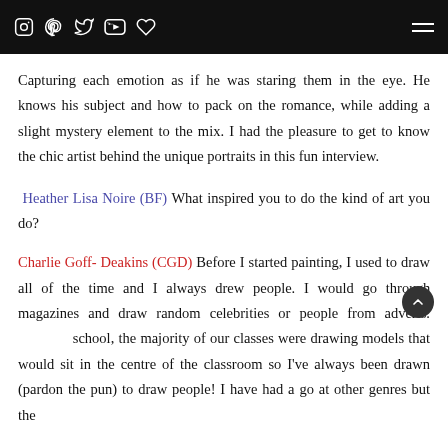[social icons: Instagram, Pinterest, Twitter, YouTube, Heart] [hamburger menu]
Capturing each emotion as if he was staring them in the eye. He knows his subject and how to pack on the romance, while adding a slight mystery element to the mix. I had the pleasure to get to know the chic artist behind the unique portraits in this fun interview.
Heather Lisa Noire (BF) What inspired you to do the kind of art you do?
Charlie Goff- Deakins (CGD) Before I started painting, I used to draw all of the time and I always drew people. I would go through magazines and draw random celebrities or people from adverts. At school, the majority of our classes were drawing models that would sit in the centre of the classroom so I've always been drawn (pardon the pun) to draw people! I have had a go at other genres but the